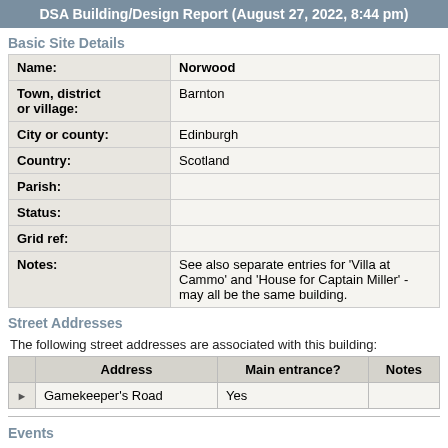DSA Building/Design Report (August 27, 2022, 8:44 pm)
Basic Site Details
| Field | Value |
| --- | --- |
| Name: | Norwood |
| Town, district or village: | Barnton |
| City or county: | Edinburgh |
| Country: | Scotland |
| Parish: |  |
| Status: |  |
| Grid ref: |  |
| Notes: | See also separate entries for 'Villa at Cammo' and 'House for Captain Miller' - may all be the same building. |
Street Addresses
The following street addresses are associated with this building:
|  | Address | Main entrance? | Notes |
| --- | --- | --- | --- |
| ▶ | Gamekeeper's Road | Yes |  |
Events
The following date-based events are associated with this building: